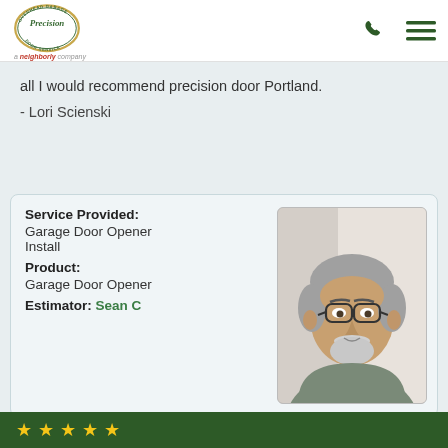Precision Door Service — a neighborly company
all I would recommend precision door Portland.
- Lori Scienski
| Field | Value |
| --- | --- |
| Service Provided: | Garage Door Opener Install |
| Product: | Garage Door Opener |
| Estimator: | Sean C |
[Figure (photo): Headshot of a middle-aged man with gray hair and beard, wearing glasses and a gray button-up shirt, smiling slightly in front of a light background.]
Green banner footer with star rating icons